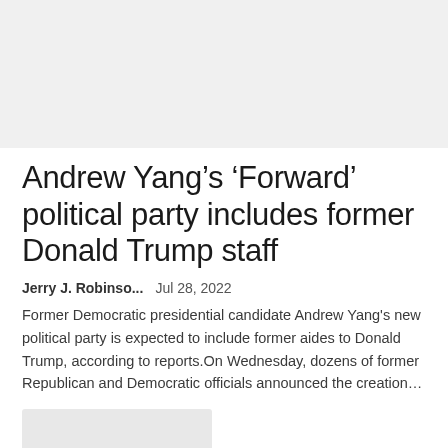[Figure (photo): Faded/light image area at the top of the page, appearing as a light gray placeholder]
Andrew Yang’s ‘Forward’ political party includes former Donald Trump staff
Jerry J. Robinso...   Jul 28, 2022
Former Democratic presidential candidate Andrew Yang's new political party is expected to include former aides to Donald Trump, according to reports.On Wednesday, dozens of former Republican and Democratic officials announced the creation...
[Figure (photo): Thumbnail image placeholder at the bottom left, light gray rectangle]